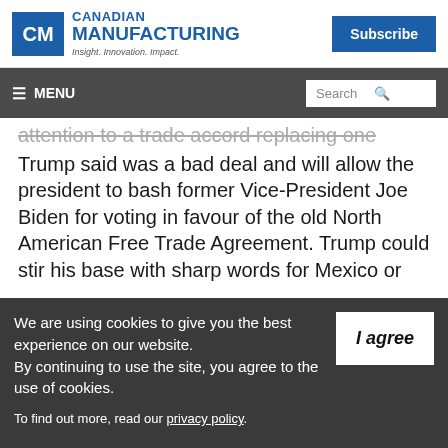CANADIAN MANUFACTURING — Insight. Innovation. Impact. | Subscribe
≡ MENU | Search
attention to a trade accord replacing one Trump said was a bad deal and will allow the president to bash former Vice-President Joe Biden for voting in favour of the old North American Free Trade Agreement. Trump could stir his base with sharp words for Mexico or
We are using cookies to give you the best experience on our website.
By continuing to use the site, you agree to the use of cookies.
To find out more, read our privacy policy.
I agree